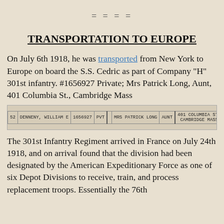====
TRANSPORTATION TO EUROPE
On July 6th 1918, he was transported from New York to Europe on board the S.S. Cedric as part of Company “H” 301st infantry. #1656927 Private; Mrs Patrick Long, Aunt, 401 Columbia St., Cambridge Mass
[Figure (table-as-image): Scanned military record row showing: 52 | DENNENY, WILLIAM E | 1656927 | PVT | MRS PATRICK LONG | AUNT | 401 COLUMBIA ST CAMBRIDGE MASS]
The 301st Infantry Regiment arrived in France on July 24th 1918, and on arrival found that the division had been designated by the American Expeditionary Force as one of six Depot Divisions to receive, train, and process replacement troops. Essentially the 76th